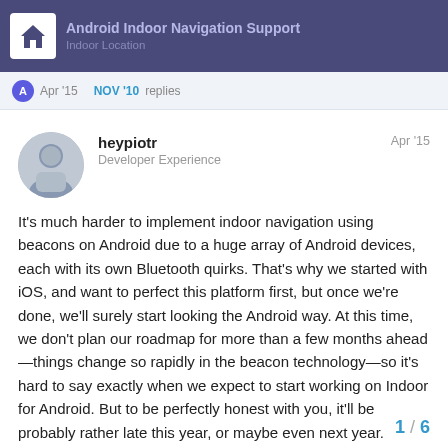Android Indoor Navigation Support | Indoor Location
Apr '15   NOV '10   replies
heypiotr   Developer Experience   Apr '15
It's much harder to implement indoor navigation using beacons on Android due to a huge array of Android devices, each with its own Bluetooth quirks. That's why we started with iOS, and want to perfect this platform first, but once we're done, we'll surely start looking the Android way. At this time, we don't plan our roadmap for more than a few months ahead—things change so rapidly in the beacon technology—so it's hard to say exactly when we expect to start working on Indoor for Android. But to be perfectly honest with you, it'll be probably rather late this year, or maybe even next year.
What app do you want to build? Maybe our regular Android SDK will be enough for it?
1 / 6